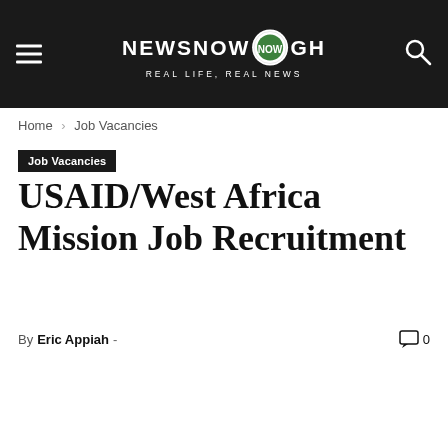NEWSNOW GH — REAL LIFE, REAL NEWS
Home › Job Vacancies
Job Vacancies
USAID/West Africa Mission Job Recruitment
By Eric Appiah - 0